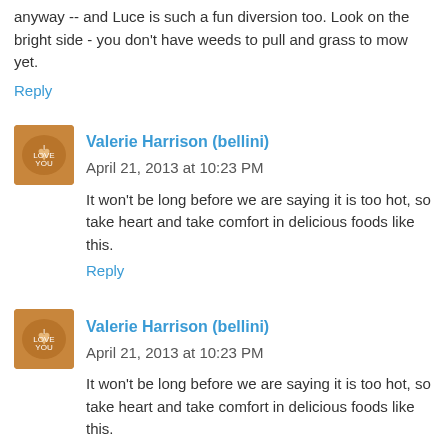anyway -- and Luce is such a fun diversion too. Look on the bright side - you don't have weeds to pull and grass to mow yet.
Reply
Valerie Harrison (bellini)  April 21, 2013 at 10:23 PM
It won't be long before we are saying it is too hot, so take heart and take comfort in delicious foods like this.
Reply
Valerie Harrison (bellini)  April 21, 2013 at 10:23 PM
It won't be long before we are saying it is too hot, so take heart and take comfort in delicious foods like this.
Reply
Barbara F.  April 21, 2013 at 10:31 PM
Claudia, these look so yummy. Haven't had a cheese